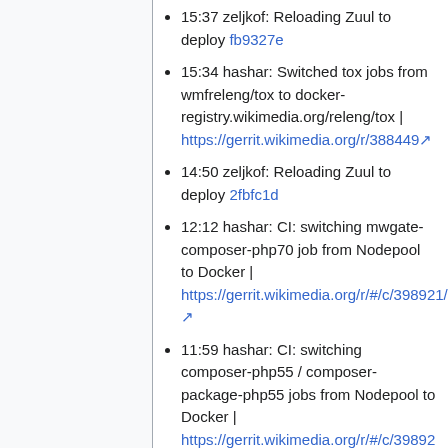15:37 zeljkof: Reloading Zuul to deploy fb9327e
15:34 hashar: Switched tox jobs from wmfreleng/tox to docker-registry.wikimedia.org/releng/tox | https://gerrit.wikimedia.org/r/388449
14:50 zeljkof: Reloading Zuul to deploy 2fbfc1d
12:12 hashar: CI: switching mwgate-composer-php70 job from Nodepool to Docker | https://gerrit.wikimedia.org/r/#/c/398921/
11:59 hashar: CI: switching composer-php55 / composer-package-php55 jobs from Nodepool to Docker | https://gerrit.wikimedia.org/r/#/c/398920/